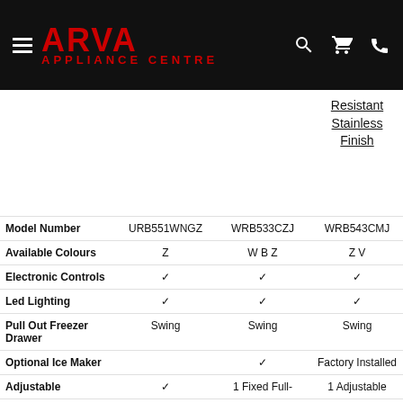[Figure (logo): ARVA Appliance Centre logo on black navigation header bar with hamburger menu, search, cart, and phone icons]
|  | URB551WNGZ | WRB533CZJ | WRB543CMJ |
| --- | --- | --- | --- |
|  |  |  | Resistant Stainless Finish |
| Model Number | URB551WNGZ | WRB533CZJ | WRB543CMJ |
| Available Colours | Z | W B Z | Z V |
| Electronic Controls | ✓ | ✓ | ✓ |
| Led Lighting | ✓ | ✓ | ✓ |
| Pull Out Freezer Drawer | Swing | Swing | Swing |
| Optional Ice Maker |  | ✓ | Factory Installed |
| Adjustable | ✓ | 1 Fixed Full- | 1 Adjustable |